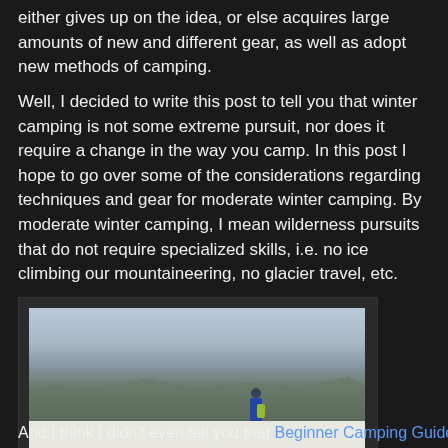either gives up on the idea, or else acquires large amounts of new and different gear, as well as adopt new methods of camping.
Well, I decided to write this post to tell you that winter camping is not some extreme pursuit, nor does it require a change in the way you camp. In this post I hope to go over some of the considerations regarding techniques and gear for moderate winter camping. By moderate winter camping, I mean wilderness pursuits that do not require specialized skills, i.e. no ice climbing our mountaineering, no glacier travel, etc.
[Figure (photo): A person in a blue jacket with a yellow/green backpack standing on a snowy hilltop overlooking a winter landscape with rolling hills and overcast sky.]
And I think I didn't even tell you that Beginner Camping Guide...